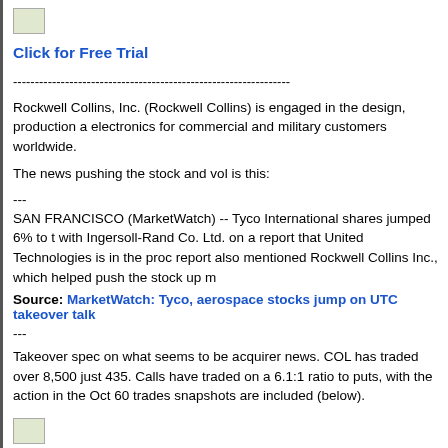[Figure (logo): Small image/logo placeholder in top left]
Click for Free Trial
----------------------------------------------------------------
Rockwell Collins, Inc. (Rockwell Collins) is engaged in the design, production and support of communications and aviation electronics for commercial and military customers worldwide.
The news pushing the stock and vol is this:
---
SAN FRANCISCO (MarketWatch) -- Tyco International shares jumped 6% to top the S&P 500 gainers on a report that United Technologies is in discussions with Ingersoll-Rand Co. Ltd. on a report that United Technologies is in the process of making an offer for the company. The report also mentioned Rockwell Collins Inc., which helped push the stock up more than 2%.
Source: MarketWatch: Tyco, aerospace stocks jump on UTC takeover talk
---
Takeover spec on what seems to be acquirer news. COL has traded over 8,500 calls today vs just 435. Calls have traded on a 6.1:1 ratio to puts, with the action in the Oct 60 calls. The trades snapshots are included (below).
[Figure (logo): Small image/logo placeholder at bottom]